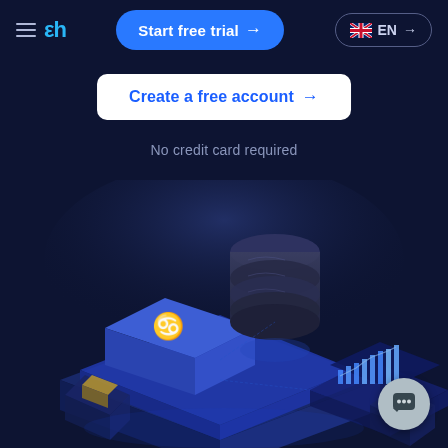[Figure (screenshot): Navigation bar with hamburger menu, a stylized 'ah' logo in cyan, a blue 'Start free trial →' button, and a language selector showing UK flag and EN]
Create a free account →
No credit card required
[Figure (illustration): 3D isometric illustration of data infrastructure on a dark navy background, featuring: a stacked blue platform with a Taurus/Gemini symbol, a cylindrical dark database on top, a glowing analytics chart display, scattered document/card icons, and other tech elements rendered in blue/purple tones]